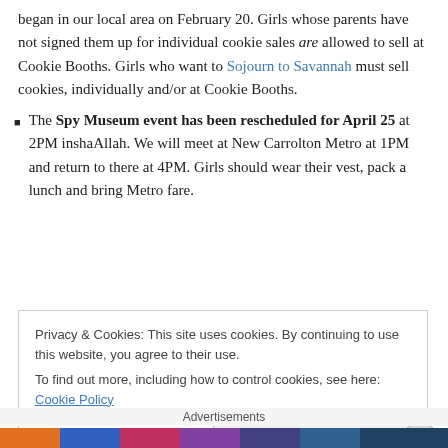began in our local area on February 20. Girls whose parents have not signed them up for individual cookie sales are allowed to sell at Cookie Booths. Girls who want to Sojourn to Savannah must sell cookies, individually and/or at Cookie Booths.
The Spy Museum event has been rescheduled for April 25 at 2PM inshaAllah. We will meet at New Carrolton Metro at 1PM and return to there at 4PM. Girls should wear their vest, pack a lunch and bring Metro fare.
Privacy & Cookies: This site uses cookies. By continuing to use this website, you agree to their use. To find out more, including how to control cookies, see here: Cookie Policy
Advertisements